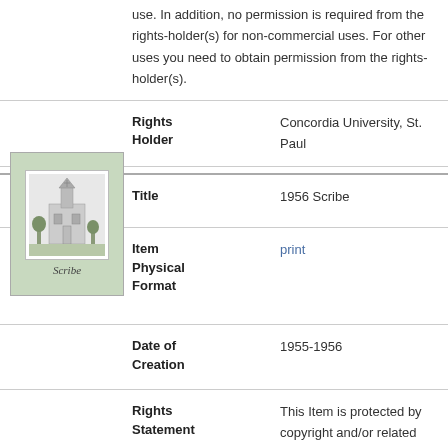use. In addition, no permission is required from the rights-holder(s) for non-commercial uses. For other uses you need to obtain permission from the rights-holder(s).
| Field | Value |
| --- | --- |
| Rights Holder | Concordia University, St. Paul |
| Title | 1956 Scribe |
| Item Physical Format | print |
| Date of Creation | 1955-1956 |
| Rights Statement | This Item is protected by copyright and/or related rights. You are free to use this Item in any way that is permitted by the copyright and related rights legislation that applies to your |
[Figure (photo): Thumbnail image of the 1956 Scribe publication cover, green background with a small white inset image showing a building/church illustration and a handwritten 'Scribe' text]